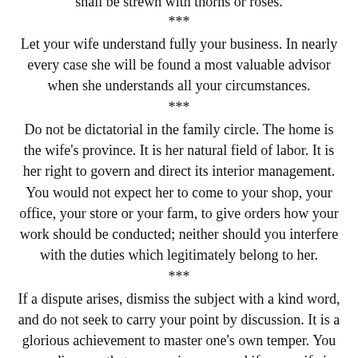shall be strewn with thorns or roses.
***
Let your wife understand fully your business. In nearly every case she will be found a most valuable advisor when she understands all your circumstances.
***
Do not be dictatorial in the family circle. The home is the wife's province. It is her natural field of labor. It is her right to govern and direct its interior management. You would not expect her to come to your shop, your office, your store or your farm, to give orders how your work should be conducted; neither should you interfere with the duties which legitimately belong to her.
***
If a dispute arises, dismiss the subject with a kind word, and do not seek to carry your point by discussion. It is a glorious achievement to master one's own temper. You may discover that you are in error, and if your wife is wrong, she will gladly, in cooler moments, acknowledge the fault.
***
Having confided to the wife all your business affairs, determine with her what your income will be in the coming year. Afterwards ascertain